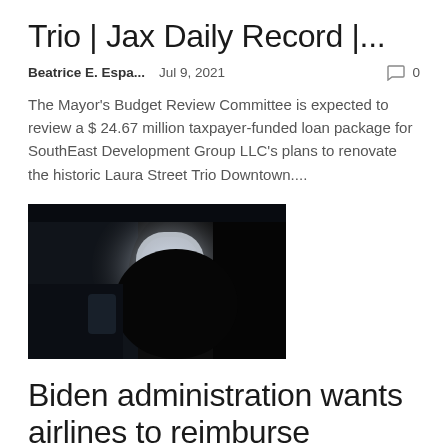Trio | Jax Daily Record |...
Beatrice E. Espa...   Jul 9, 2021   💬 0
The Mayor's Budget Review Committee is expected to review a $24.67 million taxpayer-funded loan package for SouthEast Development Group LLC's plans to renovate the historic Laura Street Trio Downtown....
[Figure (photo): Dark interior of an airplane cabin with a bright window illuminating a passenger silhouette]
Biden administration wants airlines to reimburse passengers